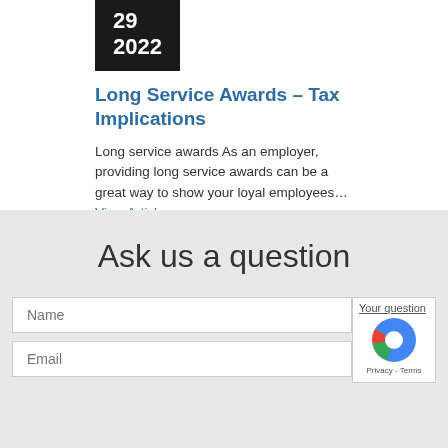29
2022
Long Service Awards – Tax Implications
Long service awards As an employer, providing long service awards can be a great way to show your loyal employees… View Article
Ask us a question
Name
Email
Your question